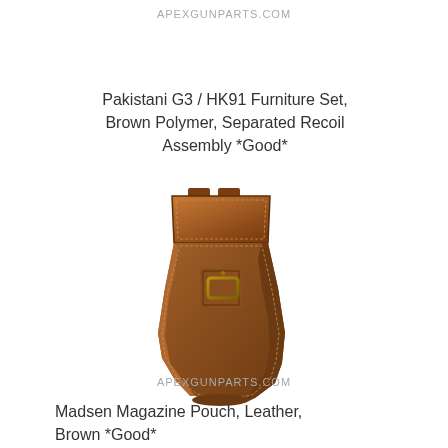APEXGUNPARTS.COM
Pakistani G3 / HK91 Furniture Set, Brown Polymer, Separated Recoil Assembly *Good*
[Figure (photo): Brown leather curved magazine pouch with a buckle strap closure and belt loops at the top, shaped to fit a curved magazine]
APEXGUNPARTS.COM
Madsen Magazine Pouch, Leather, Brown *Good*